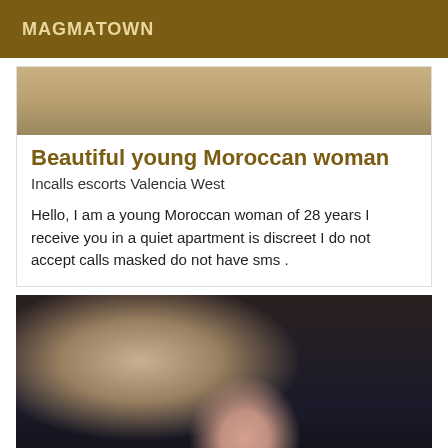MAGMATOWN
[Figure (photo): Partial photo of a person, cropped, showing skin tones and blurred background]
Beautiful young Moroccan woman
Incalls escorts Valencia West
Hello, I am a young Moroccan woman of 28 years I receive you in a quiet apartment is discreet I do not accept calls masked do not have sms .
[Figure (photo): Photo of a young woman with dark shoulder-length hair, wearing dark clothing, with people in the background]